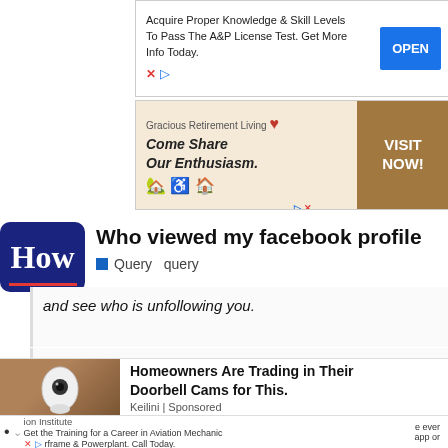[Figure (screenshot): Top advertisement: Acquire Proper Knowledge & Skill Levels To Pass The A&P License Test. Get More Info Today. With OPEN button.]
[Figure (screenshot): Second advertisement banner: Gracious Retirement Living - Come Share Our Enthusiasm. VISIT NOW! button in brown/gold.]
Who viewed my facebook profile
Query  query
and see who is unfollowing you.
[Figure (screenshot): Native advertisement: Homeowners Are Trading in Their Doorbell Cams for This. Keilini | Sponsored. Shows a hand holding a light bulb camera.]
ion Institute Get the Training for a Career in Aviation Mechanic rframe & Powerplant. Call Today.
e ever app or